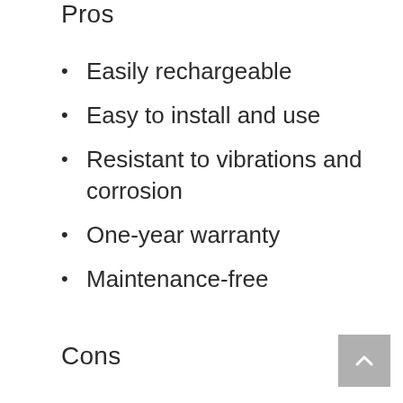Pros
Easily rechargeable
Easy to install and use
Resistant to vibrations and corrosion
One-year warranty
Maintenance-free
Cons